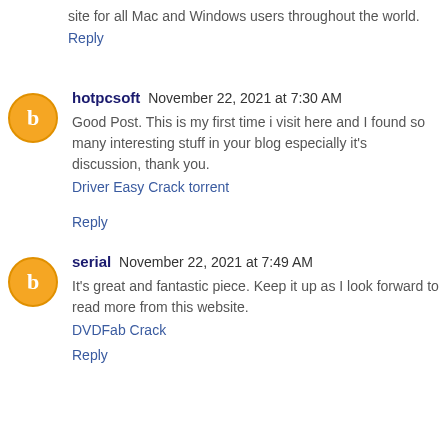site for all Mac and Windows users throughout the world.
Reply
hotpcsoft November 22, 2021 at 7:30 AM
Good Post. This is my first time i visit here and I found so many interesting stuff in your blog especially it's discussion, thank you.
Driver Easy Crack torrent
Reply
serial November 22, 2021 at 7:49 AM
It's great and fantastic piece. Keep it up as I look forward to read more from this website.
DVDFab Crack
Reply